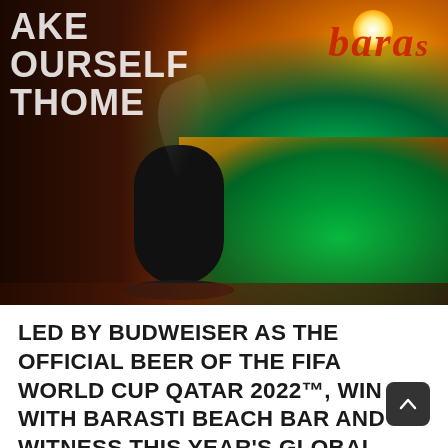[Figure (photo): Indoor bar/venue scene at night with warm orange-red lighting and green pool/water feature illuminated with colorful lights. Left side shows stone wall with text 'MAKE YOURSELF AT HOME' in white. Right side shows 'baras' cursive signage in red. A large speaker/pillar is visible center-left. Pool water reflects green and amber colored lights.]
LED BY BUDWEISER AS THE OFFICIAL BEER OF THE FIFA WORLD CUP QATAR 2022™, WIN BIG WITH BARASTI BEACH BAR AND WITNESS THIS YEAR'S GLOBAL FOOTBALL FRENZY IN ALL ITS